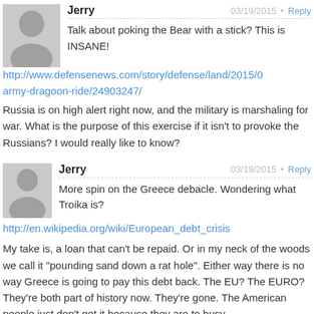[Figure (illustration): Gray avatar placeholder icon (person silhouette) for first comment]
Jerry
03/19/2015
Reply
Talk about poking the Bear with a stick? This is INSANE!
http://www.defensenews.com/story/defense/land/2015/0army-dragoon-ride/24903247/
Russia is on high alert right now, and the military is marshaling for war. What is the purpose of this exercise if it isn't to provoke the Russians? I would really like to know?
[Figure (illustration): Gray avatar placeholder icon (person silhouette) for second comment]
Jerry
03/19/2015
Reply
More spin on the Greece debacle. Wondering what Troika is?
http://en.wikipedia.org/wiki/European_debt_crisis
My take is, a loan that can't be repaid. Or in my neck of the woods we call it "pounding sand down a rat hole". Either way there is no way Greece is going to pay this debt back. The EU? The EURO? They're both part of history now. They're gone. The American people just don't get it because they are to busy